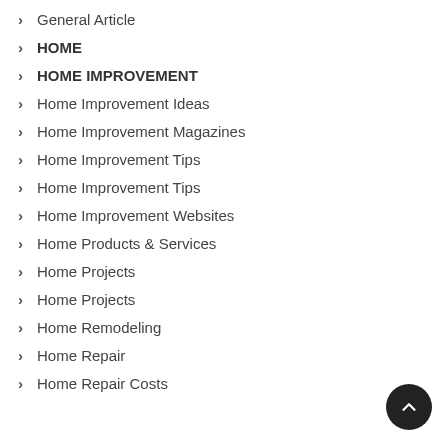General Article
HOME
HOME IMPROVEMENT
Home Improvement Ideas
Home Improvement Magazines
Home Improvement Tips
Home Improvement Tips
Home Improvement Websites
Home Products & Services
Home Projects
Home Projects
Home Remodeling
Home Repair
Home Repair Costs